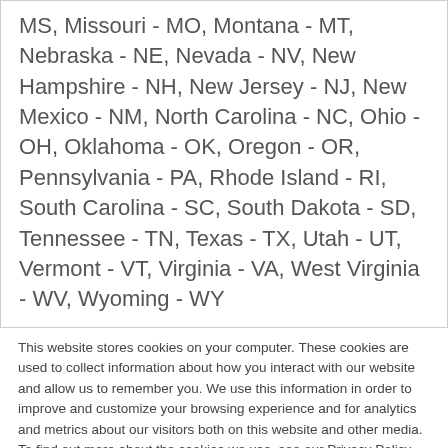MS, Missouri - MO, Montana - MT, Nebraska - NE, Nevada - NV, New Hampshire - NH, New Jersey - NJ, New Mexico - NM, North Carolina - NC, Ohio - OH, Oklahoma - OK, Oregon - OR, Pennsylvania - PA, Rhode Island - RI, South Carolina - SC, South Dakota - SD, Tennessee - TN, Texas - TX, Utah - UT, Vermont - VT, Virginia - VA, West Virginia - WV, Wyoming - WY
This website stores cookies on your computer. These cookies are used to collect information about how you interact with our website and allow us to remember you. We use this information in order to improve and customize your browsing experience and for analytics and metrics about our visitors both on this website and other media. To find out more about the cookies we use, see our Privacy Policy.
If you decline, your information won't be tracked when you visit this website. A single cookie will be used in your browser to remember your preference not to be tracked.